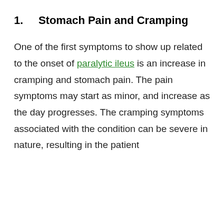1.   Stomach Pain and Cramping
One of the first symptoms to show up related to the onset of paralytic ileus is an increase in cramping and stomach pain. The pain symptoms may start as minor, and increase as the day progresses. The cramping symptoms associated with the condition can be severe in nature, resulting in the patient